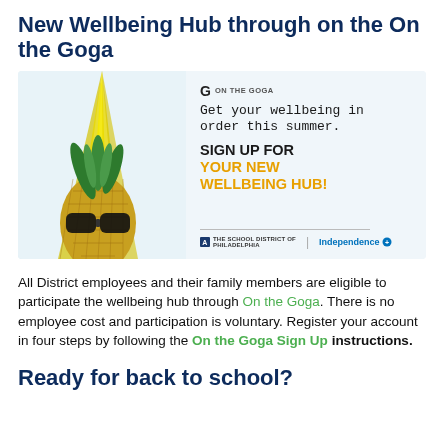New Wellbeing Hub through on the On the Goga
[Figure (illustration): Advertisement image showing a pineapple wearing sunglasses on the left against a light blue background with yellow rays, and on the right text reading 'Get your wellbeing in order this summer. SIGN UP FOR YOUR NEW WELLBEING HUB!' with The School District of Philadelphia and Independence Blue Cross logos at the bottom.]
All District employees and their family members are eligible to participate the wellbeing hub through On the Goga. There is no employee cost and participation is voluntary. Register your account in four steps by following the On the Goga Sign Up instructions.
Ready for back to school?